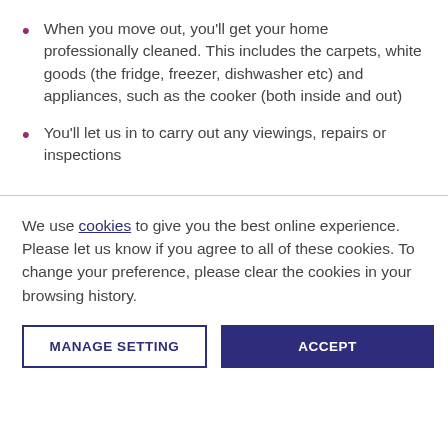When you move out, you'll get your home professionally cleaned. This includes the carpets, white goods (the fridge, freezer, dishwasher etc) and appliances, such as the cooker (both inside and out)
You'll let us in to carry out any viewings, repairs or inspections
We use cookies to give you the best online experience. Please let us know if you agree to all of these cookies. To change your preference, please clear the cookies in your browsing history.